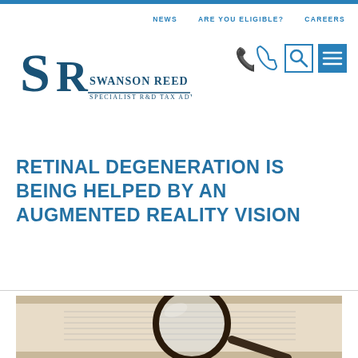NEWS | ARE YOU ELIGIBLE? | CAREERS
[Figure (logo): Swanson Reed - Specialist R&D Tax Advisors logo with SR monogram]
[Figure (infographic): Navigation icons: phone, search, menu]
RETINAL DEGENERATION IS BEING HELPED BY AN AUGMENTED REALITY VISION
[Figure (photo): Close-up photo of a magnifying glass resting on an open book/text]